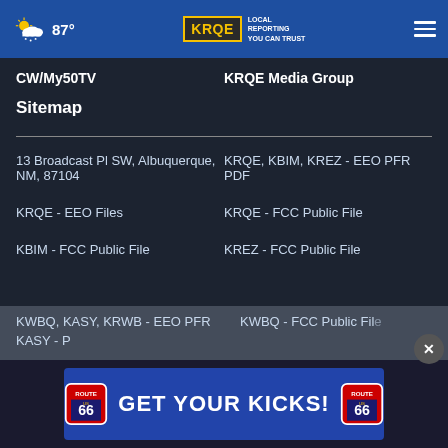87° KRQE LOCAL REPORTING YOU CAN TRUST
CW/My50TV
KRQE Media Group
Sitemap
13 Broadcast Pl SW, Albuquerque, NM, 87104
KRQE, KBIM, KREZ - EEO PFR PDF
KRQE - EEO Files
KRQE - FCC Public File
KBIM - FCC Public File
KREZ - FCC Public File
KWBQ, KASY, KRWB - EEO PFR
KWBQ - FCC Public File
KASY - P
[Figure (infographic): Route 66 Casino Hotel advertisement banner: 'GET YOUR KICKS!' with Route 66 shield logos on both sides]